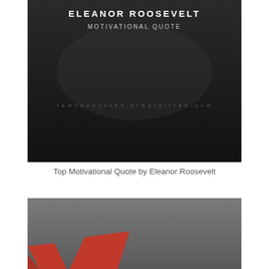[Figure (illustration): Dark background image with text 'ELEANOR ROOSEVELT' in bold white letters and 'MOTIVATIONAL QUOTE' below it, with 'famousquotes.simplyirfan.com' watermark in center]
Top Motivational Quote by Eleanor Roosevelt
[Figure (illustration): Gray background image with partial view of red graphic/logo elements in lower left corner]